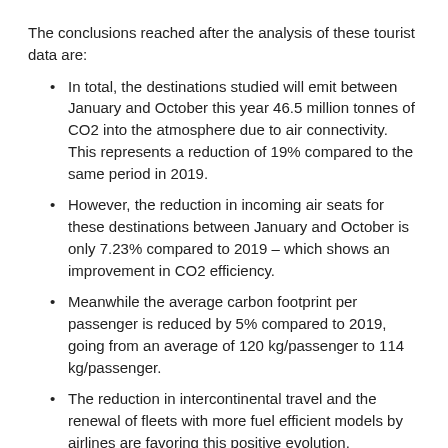The conclusions reached after the analysis of these tourist data are:
In total, the destinations studied will emit between January and October this year 46.5 million tonnes of CO2 into the atmosphere due to air connectivity. This represents a reduction of 19% compared to the same period in 2019.
However, the reduction in incoming air seats for these destinations between January and October is only 7.23% compared to 2019 – which shows an improvement in CO2 efficiency.
Meanwhile the average carbon footprint per passenger is reduced by 5% compared to 2019, going from an average of 120 kg/passenger to 114 kg/passenger.
The reduction in intercontinental travel and the renewal of fleets with more fuel efficient models by airlines are favoring this positive evolution.
By country, the results are as follows:
Spain is the destination that emits the most carbon